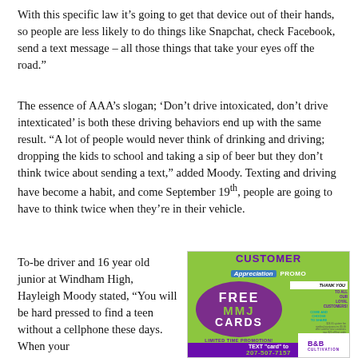With this specific law it’s going to get that device out of their hands, so people are less likely to do things like Snapchat, check Facebook, send a text message – all those things that take your eyes off the road.”
The essence of AAA’s slogan; ‘Don’t drive intoxicated, don’t drive intexticated’ is both these driving behaviors end up with the same result. “A lot of people would never think of drinking and driving; dropping the kids to school and taking a sip of beer but they don’t think twice about sending a text,” added Moody. Texting and driving have become a habit, and come September 19th, people are going to have to think twice when they’re in their vehicle.
To-be driver and 16 year old junior at Windham High, Hayleigh Moody stated, “You will be hard pressed to find a teen without a cellphone these days. When your
[Figure (illustration): Customer Appreciation Promo advertisement for free MMJ cards, limited time promotion, with B&B Cultivation logo and text ‘TEXT card to 207-507-7157’]